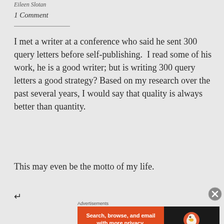Eileen Slotan
1 Comment
I met a writer at a conference who said he sent 300 query letters before self-publishing.  I read some of his work, he is a good writer; but is writing 300 query letters a good strategy?  Based on my research over the past several years, I would say that quality is always better than quantity.
This may even be the motto of my life.
Advertisements
[Figure (infographic): DuckDuckGo advertisement banner: orange left side reading 'Search, browse, and email with more privacy. All in One Free App' with white pill button, dark right side with DuckDuckGo duck logo and brand name.]